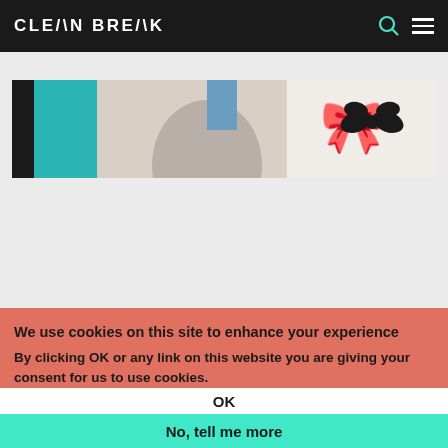CLEAN BREAK
[Figure (photo): Banner image showing a person with white/grey hair and a decorative bow logo on the right side, against a teal and light background]
We use cookies on this site to enhance your experience
By clicking OK or any link on this website you are giving your consent for us to use cookies.
OK
No, tell me more